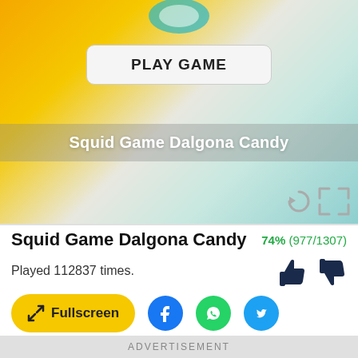[Figure (screenshot): Game banner with gradient background (yellow-orange to teal-white), a PLAY GAME button, and overlaid game title 'Squid Game Dalgona Candy']
Squid Game Dalgona Candy
74% (977/1307)
Played 112837 times.
Fullscreen
ADVERTISEMENT